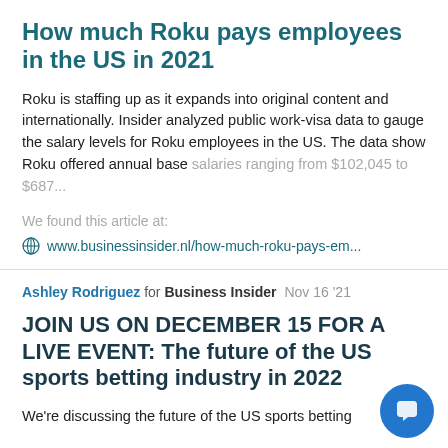How much Roku pays employees in the US in 2021
Roku is staffing up as it expands into original content and internationally. Insider analyzed public work-visa data to gauge the salary levels for Roku employees in the US. The data show Roku offered annual base salaries ranging from $102,045 to $687...
We found this article at:
www.businessinsider.nl/how-much-roku-pays-em...
Ashley Rodriguez for Business Insider  Nov 16 '21
JOIN US ON DECEMBER 15 FOR A LIVE EVENT: The future of the US sports betting industry in 2022
We're discussing the future of the US sports betting